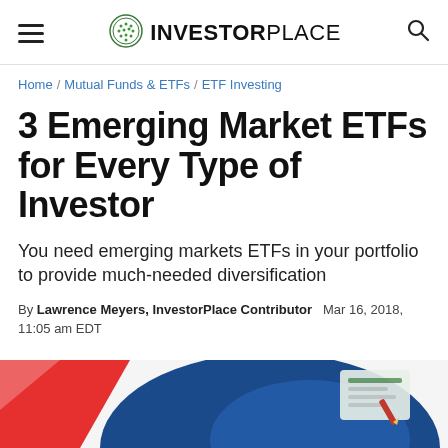INVESTORPLACE
Home / Mutual Funds & ETFs / ETF Investing
3 Emerging Market ETFs for Every Type of Investor
You need emerging markets ETFs in your portfolio to provide much-needed diversification
By Lawrence Meyers, InvestorPlace Contributor  Mar 16, 2018, 11:05 am EDT
[Figure (illustration): Colorful illustration of investment/finance theme with red and blue shapes and financial documents]